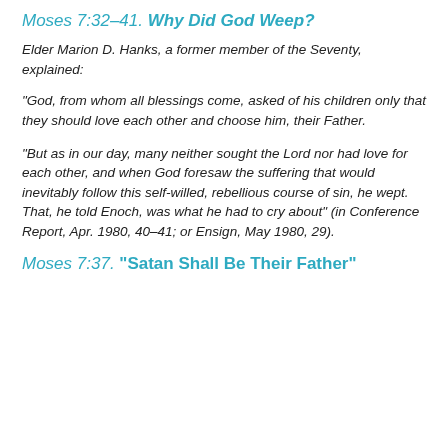Moses 7:32–41. Why Did God Weep?
Elder Marion D. Hanks, a former member of the Seventy, explained:
“God, from whom all blessings come, asked of his children only that they should love each other and choose him, their Father.
“But as in our day, many neither sought the Lord nor had love for each other, and when God foresaw the suffering that would inevitably follow this self-willed, rebellious course of sin, he wept. That, he told Enoch, was what he had to cry about” (in Conference Report, Apr. 1980, 40–41; or Ensign, May 1980, 29).
Moses 7:37. “Satan Shall Be Their Father”